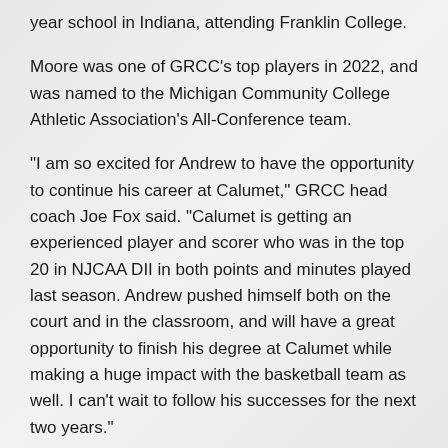year school in Indiana, attending Franklin College.
Moore was one of GRCC's top players in 2022, and was named to the Michigan Community College Athletic Association's All-Conference team.
“I am so excited for Andrew to have the opportunity to continue his career at Calumet,” GRCC head coach Joe Fox said. “Calumet is getting an experienced player and scorer who was in the top 20 in NJCAA DII in both points and minutes played last season. Andrew pushed himself both on the court and in the classroom, and will have a great opportunity to finish his degree at Calumet while making a huge impact with the basketball team as well. I can’t wait to follow his successes for the next two years.”
Calumet College of St. Joseph, located in Whiting, Ind., is a private, four-year school that competes in the National Association of Intercollegiate Athletics.